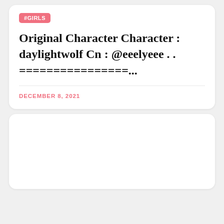#GIRLS
Original Character Character : daylightwolf Cn : @eeelyeee . . ================...
DECEMBER 8, 2021